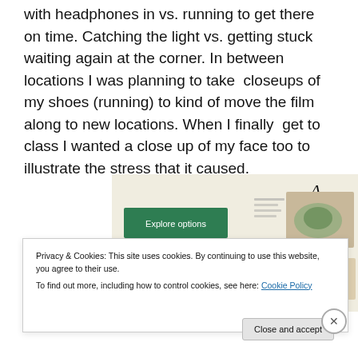with headphones in vs. running to get there on time. Catching the light vs. getting stuck waiting again at the corner. In between locations I was planning to take closeups of my shoes (running) to kind of move the film along to new locations. When I finally get to class I wanted a close up of my face too to illustrate the stress that it caused.
[Figure (screenshot): Screenshot of a website or app interface showing an 'Explore options' green button on the left, a large letter A logo in the upper right, and food/product images on the right side, on a beige/cream background.]
Privacy & Cookies: This site uses cookies. By continuing to use this website, you agree to their use.
To find out more, including how to control cookies, see here: Cookie Policy
Close and accept